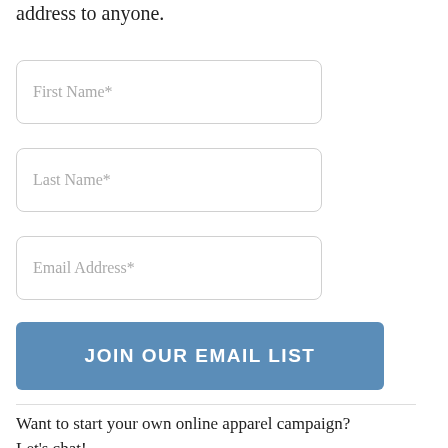address to anyone.
[Figure (screenshot): Form field: First Name*]
[Figure (screenshot): Form field: Last Name*]
[Figure (screenshot): Form field: Email Address*]
[Figure (screenshot): Button: JOIN OUR EMAIL LIST]
Want to start your own online apparel campaign? Let’s chat!
>Learn more
>Contact us